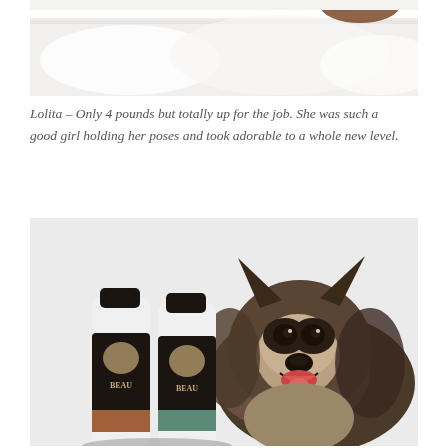[Figure (photo): Close-up photo of a small dog (Lolita) in a white bathtub, mostly showing white fluffy towels/bath area with a brown dog visible at top]
Lolita – Only 4 pounds but totally up for the job. She was such a good girl holding her poses and took adorable to a whole new level.
[Figure (photo): Photo of a fluffy Keeshond/Spitz-type dog smiling at camera with two BEAU brand dog shampoo/conditioner bottles in the foreground against a light grey background]